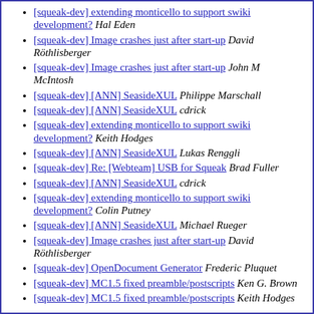[squeak-dev] extending monticello to support swiki development?  Hal Eden
[squeak-dev] Image crashes just after start-up  David Röthlisberger
[squeak-dev] Image crashes just after start-up  John M McIntosh
[squeak-dev] [ANN] SeasideXUL  Philippe Marschall
[squeak-dev] [ANN] SeasideXUL  cdrick
[squeak-dev] extending monticello to support swiki development?  Keith Hodges
[squeak-dev] [ANN] SeasideXUL  Lukas Renggli
[squeak-dev] Re: [Webteam] USB for Squeak  Brad Fuller
[squeak-dev] [ANN] SeasideXUL  cdrick
[squeak-dev] extending monticello to support swiki development?  Colin Putney
[squeak-dev] [ANN] SeasideXUL  Michael Rueger
[squeak-dev] Image crashes just after start-up  David Röthlisberger
[squeak-dev] OpenDocument Generator  Frederic Pluquet
[squeak-dev] MC1.5 fixed preamble/postscripts  Ken G. Brown
[squeak-dev] MC1.5 fixed preamble/postscripts  Keith Hodges